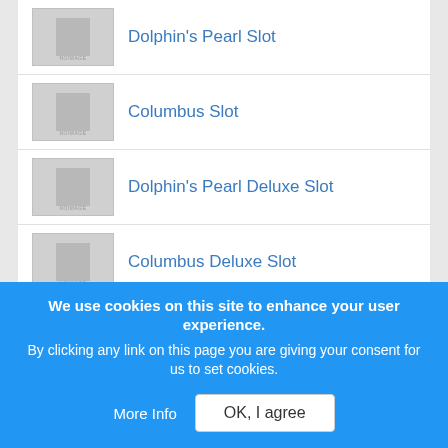Dolphin's Pearl Slot
Columbus Slot
Dolphin's Pearl Deluxe Slot
Columbus Deluxe Slot
New Slots 2020
We use cookies on this site to enhance your user experience. By clicking any link on this page you are giving your consent for us to set cookies.
More Info
OK, I agree